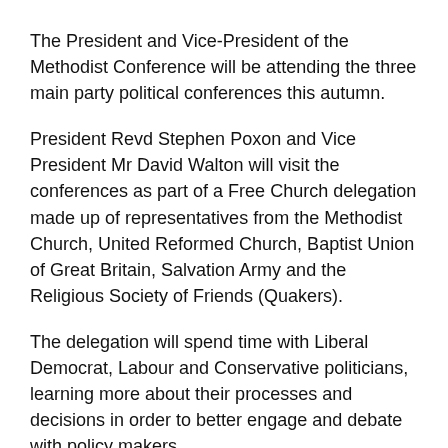The President and Vice-President of the Methodist Conference will be attending the three main party political conferences this autumn.
President Revd Stephen Poxon and Vice President Mr David Walton will visit the conferences as part of a Free Church delegation made up of representatives from the Methodist Church, United Reformed Church, Baptist Union of Great Britain, Salvation Army and the Religious Society of Friends (Quakers).
The delegation will spend time with Liberal Democrat, Labour and Conservative politicians, learning more about their processes and decisions in order to better engage and debate with policy makers.
Stephen said; "This will be a valuable opportunity to engage with some of the key decision makers in British politics about issues that matter to the churches, to those in congregations and to those living in the communities